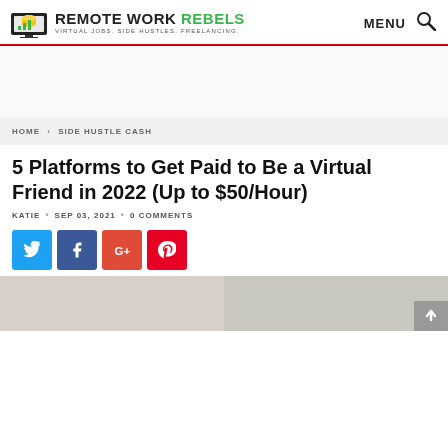REMOTE WORK REBELS — VIRTUAL JOBS. SIDE HUSTLES. FREELANCING. | MENU
HOME > SIDE HUSTLE CASH
5 Platforms to Get Paid to Be a Virtual Friend in 2022 (Up to $50/Hour)
KATIE • SEP 03, 2021 • 0 COMMENTS
[Figure (infographic): Social sharing buttons: Twitter (blue), Facebook (dark blue), Google+ (red-orange), Pinterest (red)]
[Figure (photo): Bottom partial preview of article images, two photos side by side]